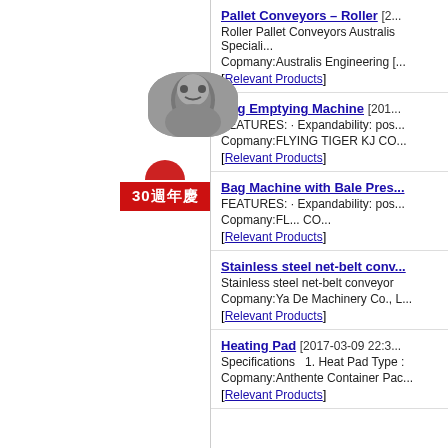[Figure (logo): Red semicircle above a red banner with Chinese text '30週年慶']
Pallet Conveyors – Roller [2... Roller Pallet Conveyors Australis Speciali... Copmany:Australis Engineering [... [Relevant Products]
Bag Emptying Machine [201... FEATURES: · Expandability: pos... Copmany:FLYING TIGER KJ CO... [Relevant Products]
Bag Machine with Bale Pres... FEATURES: · Expandability: pos... Copmany:FL... CO... [Relevant Products]
Stainless steel net-belt conv... Stainless steel net-belt conveyor Copmany:Ya De Machinery Co., L... [Relevant Products]
Heating Pad [2017-03-09 22:3... Specifications 1. Heat Pad Type : Copmany:Anthente Container Pac... [Relevant Products]